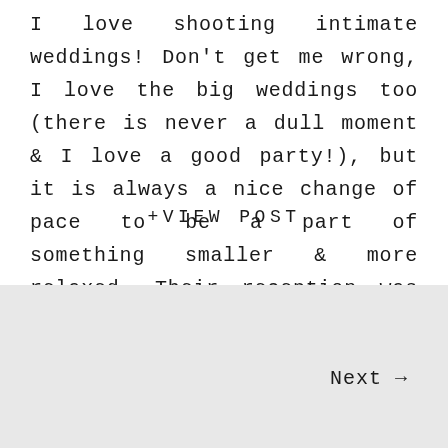I love shooting intimate weddings! Don't get me wrong, I love the big weddings too (there is never a dull moment & I love a good party!), but it is always a nice change of pace to be a part of something smaller & more relaxed. Their reception was held at the Powel House in […]
+VIEW POST
Next →